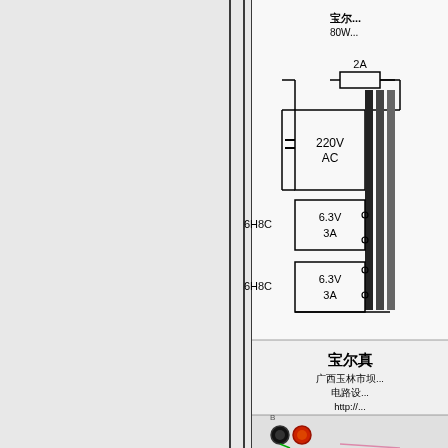[Figure (circuit-diagram): Partial circuit schematic showing transformer with 220V AC input (2A fuse), two secondary outputs labeled 6.3V 3A each for 6H8C tubes. Right side shows black transformer core. Bottom section shows title block text in Chinese: 宝尔真, 广西玉林市, 电路设, http://, 电子邮箱. Bottom portion shows two circular connectors (black and red) with colored wires.]